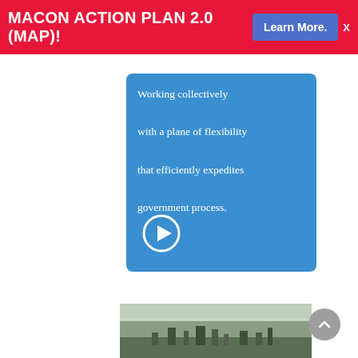MACON ACTION PLAN 2.0 (MAP)!
Learn More.
Working collectively with a plane of flexibility that efficiently expedites government process.
[Figure (other): Blue card with text and a circular play button icon]
[Figure (photo): Aerial photo of a city skyline landscape]